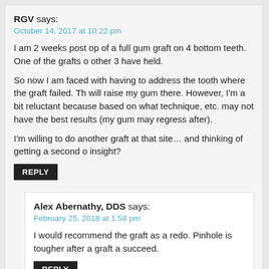RGV says:
October 14, 2017 at 10:22 pm
I am 2 weeks post op of a full gum graft on 4 bottom teeth. One of the grafts other 3 have held.
So now I am faced with having to address the tooth where the graft failed. Th will raise my gum there. However, I'm a bit reluctant because based on what technique, etc. may not have the best results (my gum may regress after).
I'm willing to do another graft at that site… and thinking of getting a second o insight?
REPLY
Alex Abernathy, DDS says:
February 25, 2018 at 1:58 pm
I would recommend the graft as a redo. Pinhole is tougher after a graft a succeed.
REPLY